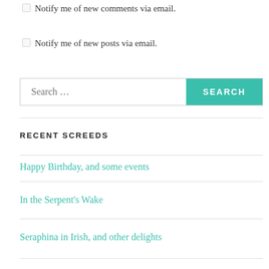Notify me of new comments via email.
Notify me of new posts via email.
[Figure (other): Search bar with text input labeled 'Search ...' and a teal 'SEARCH' button]
RECENT SCREEDS
Happy Birthday, and some events
In the Serpent's Wake
Seraphina in Irish, and other delights